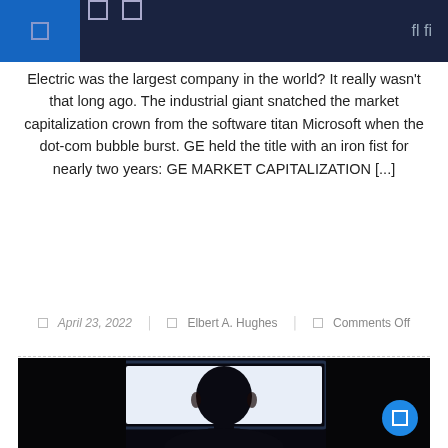Navigation header with icons
Electric was the largest company in the world? It really wasn't that long ago. The industrial giant snatched the market capitalization crown from the software titan Microsoft when the dot-com bubble burst. GE held the title with an iron fist for nearly two years: GE MARKET CAPITALIZATION [...]
April 23, 2022   Elbert A. Hughes   Comments Off
[Figure (photo): Dark silhouette of a person sitting in front of a bright white computer monitor, viewed from behind, in a dark room]